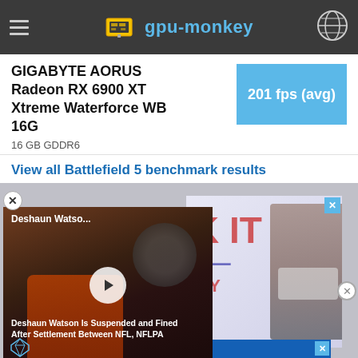gpu-monkey
GIGABYTE AORUS Radeon RX 6900 XT Xtreme Waterforce WB 16G
16 GB GDDR6
201 fps (avg)
View all Battlefield 5 benchmark results
[Figure (screenshot): Video popup overlay showing Deshaun Watson news story with play button, overlapping advertisement showing ENEMY text, Disney bundle ad at bottom]